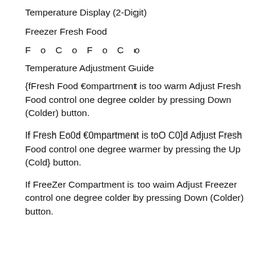Temperature Display (2-Digit)
Freezer Fresh Food
F o C o F o C o
Temperature Adjustment Guide
{fFresh Food €ompartrnent is too warm Adjust Fresh Food control one degree colder by pressing Down (Colder) button.
If Fresh Eo0d €0mpartment is toO C0]d Adjust Fresh Food control one degree warmer by pressing the Up (Cold} button.
If FreeZer Compartment is too waim Adjust Freezer control one degree colder by pressing Down (Colder) button.